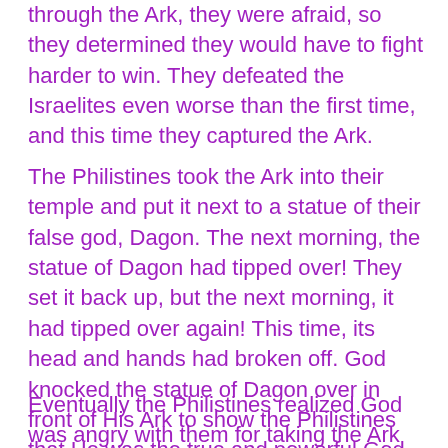through the Ark, they were afraid, so they determined they would have to fight harder to win. They defeated the Israelites even worse than the first time, and this time they captured the Ark.
The Philistines took the Ark into their temple and put it next to a statue of their false god, Dagon. The next morning, the statue of Dagon had tipped over! They set it back up, but the next morning, it had tipped over again! This time, its head and hands had broken off. God knocked the statue of Dagon over in front of His Ark to show the Philistines that He was the true and powerful God, not Dagon!
Eventually the Philistines realized God was angry with them for taking the Ark away from them, they decided to